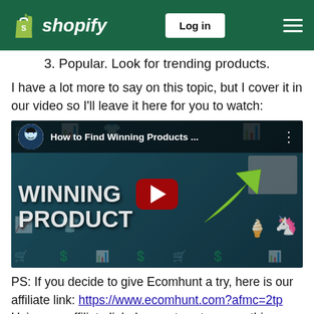Shopify — Log in
3. Popular. Look for trending products.
I have a lot more to say on this topic, but I cover it in our video so I'll leave it here for you to watch:
[Figure (screenshot): YouTube video thumbnail for 'How to Find Winning Products ...' showing a dark teal background with ecommerce icons, bold white text 'WINNING PRODUCT', a red YouTube play button, and a green upward arrow.]
PS: If you decide to give Ecomhunt a try, here is our affiliate link: https://www.ecomhunt.com?afmc=2tp Using our affiliate link does not cost you anything